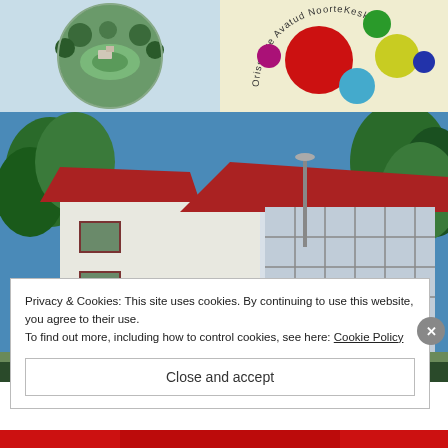[Figure (photo): Tiny planet aerial circular photograph of a building and grounds with trees and sports field]
[Figure (logo): Orissaare Avatud Noortekeskus logo with colorful circles (red, green, yellow, magenta, blue, light blue) arranged in a cluster with text curving around them]
[Figure (photo): Exterior photo of a white building with a red roof and large glass windows, surrounded by trees under blue sky]
Privacy & Cookies: This site uses cookies. By continuing to use this website, you agree to their use.
To find out more, including how to control cookies, see here: Cookie Policy
Close and accept